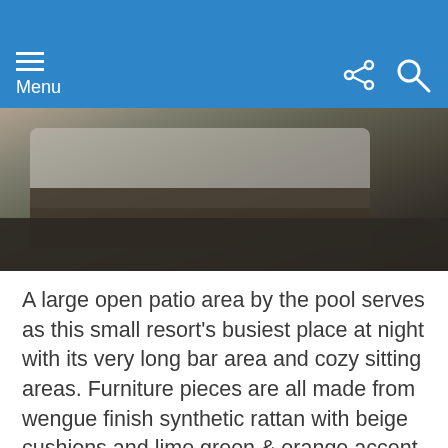Menu
[Figure (photo): Partial view of patio/lounge furniture — dark wengue-finish rattan sofa with cushions, wooden floor visible in background]
A large open patio area by the pool serves as this small resort's busiest place at night with its very long bar area and cozy sitting areas. Furniture pieces are all made from wengue finish synthetic rattan with beige cushions and lime green & orange accent pillows to match the orange sun umbrellas.